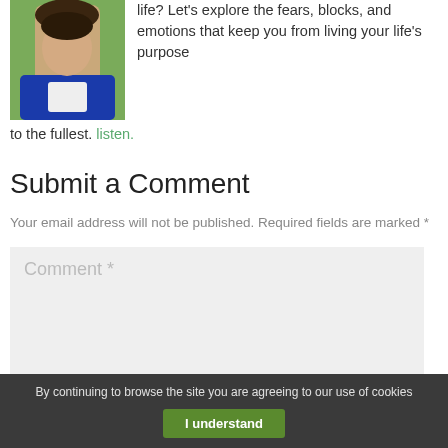[Figure (photo): Portrait photo of a young man in a blue top, outdoors with green background]
life? Let's explore the fears, blocks, and emotions that keep you from living your life's purpose to the fullest. listen.
Submit a Comment
Your email address will not be published. Required fields are marked *
Comment *
By continuing to browse the site you are agreeing to our use of cookies  I understand